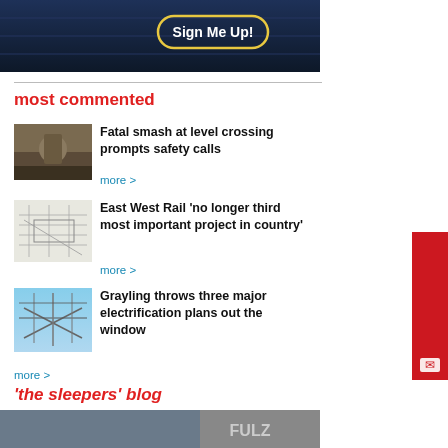[Figure (screenshot): Dark blue banner with 'Sign Me Up!' button outlined in gold/yellow]
most commented
[Figure (photo): Photo of a damaged vehicle or machinery at a rail level crossing]
Fatal smash at level crossing prompts safety calls
more >
[Figure (photo): Engineering/technical diagram drawing for East West Rail project]
East West Rail 'no longer third most important project in country'
more >
[Figure (photo): Photo of overhead railway electrification equipment against blue sky]
Grayling throws three major electrification plans out the window
more >
'the sleepers' blog
[Figure (photo): Bottom strip photo partially visible, appears to show a train or rail scene with text 'FULZ']